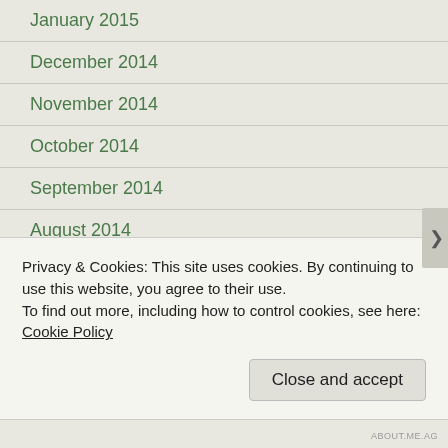January 2015
December 2014
November 2014
October 2014
September 2014
August 2014
July 2014
June 2014
May 2014
April 2014
Privacy & Cookies: This site uses cookies. By continuing to use this website, you agree to their use.
To find out more, including how to control cookies, see here: Cookie Policy
ABOUT.ME.AG